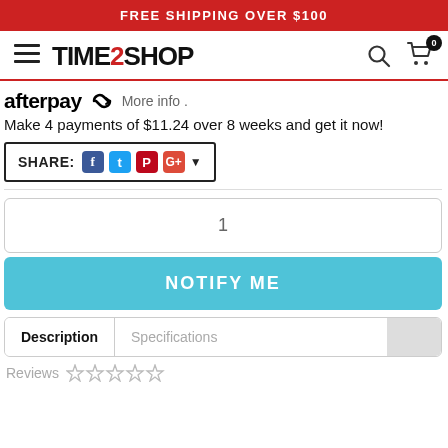FREE SHIPPING OVER $100
[Figure (logo): TIME2SHOP logo with hamburger menu, search icon, and cart icon with badge 0]
afterpay More info .
Make 4 payments of $11.24 over 8 weeks and get it now!
SHARE: [Facebook] [Twitter] [Pinterest] [Google+]
1
NOTIFY ME
Description  Specifications
Reviews ☆☆☆☆☆